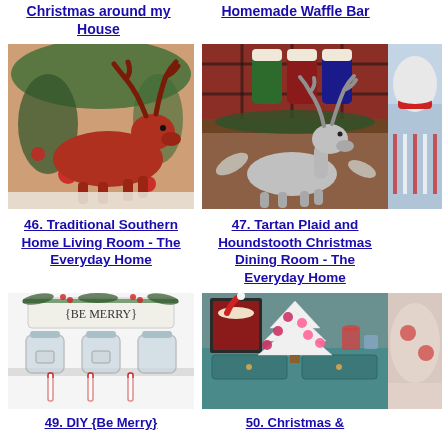Christmas around my House
Homemade Waffle Bar
[Figure (photo): Red ceramic reindeer figurine with Christmas greenery and ornaments in background]
46. Traditional Southern Home Living Room - The Everyday Home
[Figure (photo): Silver reindeer figurine with tartan plaid stockings and Christmas decorations]
47. Tartan Plaid and Houndstooth Christmas Dining Room - The Everyday Home
[Figure (photo): Partial view of a Christmas-themed photo (cropped)]
[Figure (photo): Glass jars with 'Be Merry' sign and pine greenery]
49. DIY {Be Merry}
[Figure (photo): Christmas vignette with Santa portrait, white flocked tree with red flowers, teal dresser]
50. Christmas &
[Figure (photo): Partial cropped Christmas image on right edge]